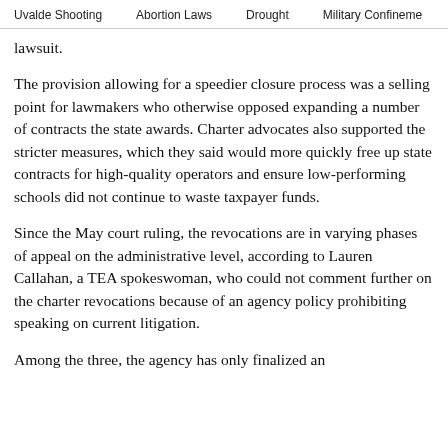Uvalde Shooting   Abortion Laws   Drought   Military Confinement
lawsuit.
The provision allowing for a speedier closure process was a selling point for lawmakers who otherwise opposed expanding a number of contracts the state awards. Charter advocates also supported the stricter measures, which they said would more quickly free up state contracts for high-quality operators and ensure low-performing schools did not continue to waste taxpayer funds.
Since the May court ruling, the revocations are in varying phases of appeal on the administrative level, according to Lauren Callahan, a TEA spokeswoman, who could not comment further on the charter revocations because of an agency policy prohibiting speaking on current litigation.
Among the three, the agency has only finalized an